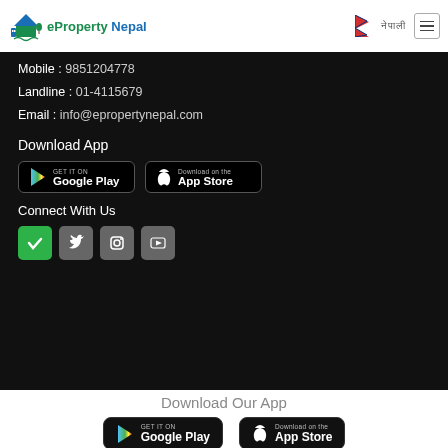eProperty Nepal
Mobile : 9851204778
Landline : 01-4115679
Email : info@epropertynepal.com
Download App
[Figure (screenshot): Google Play and App Store download buttons on dark background]
Connect With Us
[Figure (screenshot): Social media icons: green checkmark/Facebook, Twitter, Instagram, YouTube on dark background]
Download Our App
[Figure (screenshot): Google Play and App Store download buttons on white background]